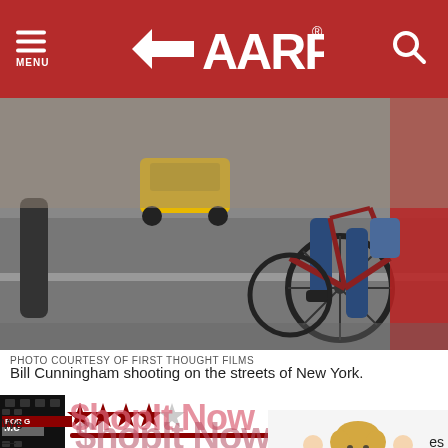AARP — MENU / Search
[Figure (photo): Street scene in New York City with a person riding a bicycle, pedestrians, and a yellow taxi cab visible in the background. A blurred red figure appears on the right side.]
PHOTO COURTESY OF FIRST THOUGHT FILMS
Bill Cunningham shooting on the streets of New York.
[Figure (infographic): Movie rating graphic showing 4 out of 5 red stars, with a film icon on the left and a red horizontal bar below the stars. A ShopIt Now advertisement overlay is partially visible.]
We   es
—   
the   ed